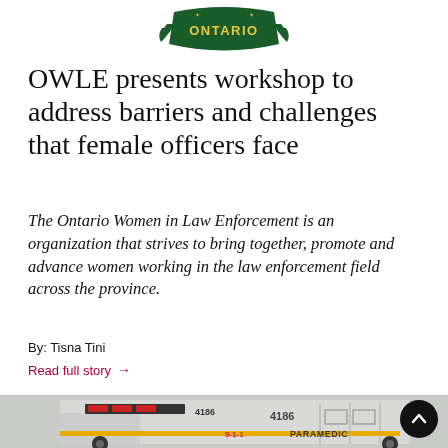[Figure (logo): Ontario Women in Law Enforcement (OWLE) logo — dark green shield/banner shape with 'ONTARIO' text in gold/yellow lettering, decorative wings/laurel on sides]
OWLE presents workshop to address barriers and challenges that female officers face
The Ontario Women in Law Enforcement is an organization that strives to bring together, promote and advance women working in the law enforcement field across the province.
By: Tisna Tini
Read full story →
[Figure (photo): Photograph of the rear/side of a paramedic ambulance truck with number 4186, showing 9-1-1 and PARAMEDIC text on the side, yellow reflective stripe]